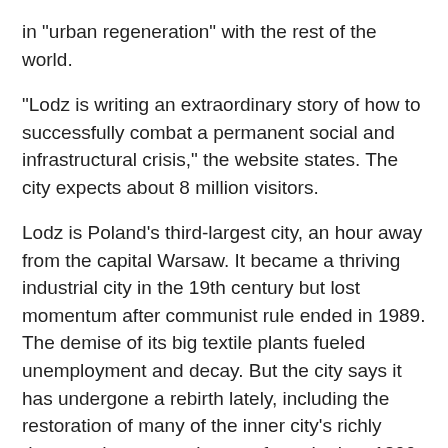in "urban regeneration" with the rest of the world.
"Lodz is writing an extraordinary story of how to successfully combat a permanent social and infrastructural crisis," the website states. The city expects about 8 million visitors.
Lodz is Poland’s third-largest city, an hour away from the capital Warsaw. It became a thriving industrial city in the 19th century but lost momentum after communist rule ended in 1989. The demise of its big textile plants fueled unemployment and decay. But the city says it has undergone a rebirth lately, including the restoration of many of the inner city’s richly decorated tenement houses from the late 1800s and revitalization around the main railroad station.
CREATIVE ARGENTINA